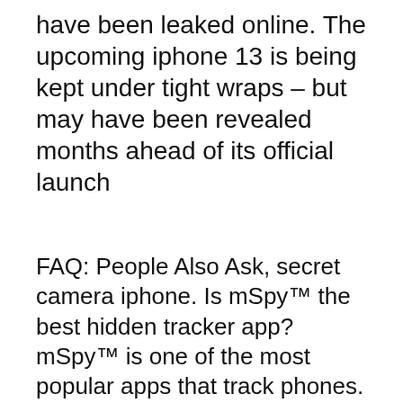have been leaked online. The upcoming iphone 13 is being kept under tight wraps – but may have been revealed months ahead of its official launch
FAQ: People Also Ask, secret camera iphone. Is mSpy™ the best hidden tracker app? mSpy™ is one of the most popular apps that track phones. It has more than 30 monitoring features, including call restriction, social media tracking, GPS locator , website blocker, and much more. We also offer around-the-clock multilingual support, so feel free to contact us at any time. Does mSpy™ cell phone tracker work in real-time? The frequency of the data updates depends on